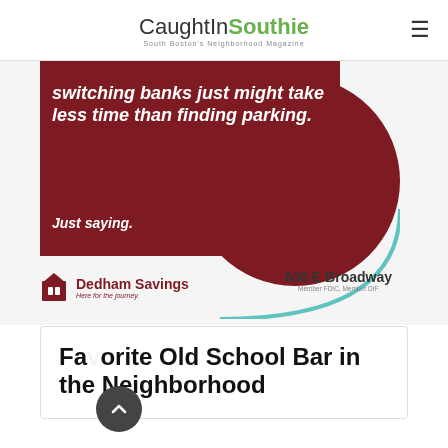CaughtInSouthie – South Boston's Neighborhood Magazine
[Figure (infographic): Dedham Savings bank advertisement with dark red background and teal circle accent. Text: 'switching banks just might take less time than finding parking. Just saying.' Dedham Savings logo with '636 E Broadway, Member FDIC, Member DIF']
Favorite Old School Bar in the Neighborhood